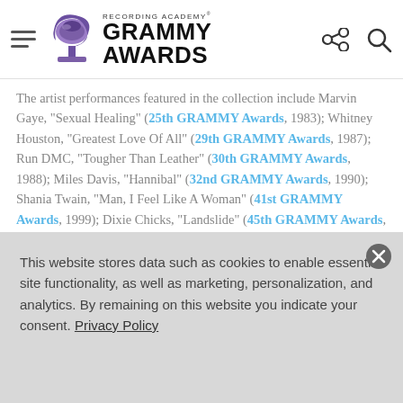RECORDING ACADEMY GRAMMY AWARDS
The artist performances featured in the collection include Marvin Gaye, "Sexual Healing" (25th GRAMMY Awards, 1983); Whitney Houston, "Greatest Love Of All" (29th GRAMMY Awards, 1987); Run DMC, "Tougher Than Leather" (30th GRAMMY Awards, 1988); Miles Davis, "Hannibal" (32nd GRAMMY Awards, 1990); Shania Twain, "Man, I Feel Like A Woman" (41st GRAMMY Awards, 1999); Dixie Chicks, "Landslide" (45th GRAMMY Awards, 2003); Bruno Mars and Sting, "Locked Out Of Heaven"
This website stores data such as cookies to enable essential site functionality, as well as marketing, personalization, and analytics. By remaining on this website you indicate your consent. Privacy Policy